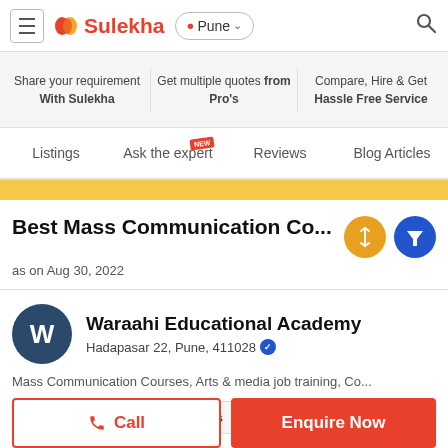Sulekha — Pune
Share your requirement With Sulekha | Get multiple quotes from Pro's | Compare, Hire & Get Hassle Free Service
Listings | Ask the expert NEW | Reviews | Blog Articles
Best Mass Communication Co...
as on Aug 30, 2022
Waraahi Educational Academy
Hadapasar 22, Pune, 411028
Mass Communication Courses, Arts & media job training, Co...
Response Time: Within 15 Mins | Sulekha score: 3.5
Call | Enquire Now